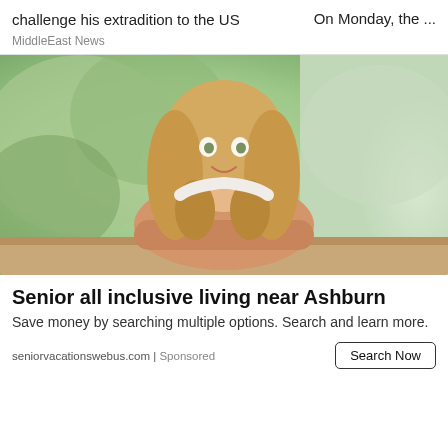challenge his extradition to the US
On Monday, the ...
MiddleEast News
[Figure (photo): A middle-aged blonde woman smiling, seated outdoors with a blurred green background, wearing a white sleeveless top, arms resting on a surface.]
Senior all inclusive living near Ashburn
Save money by searching multiple options. Search and learn more.
seniorvacationswebus.com | Sponsored